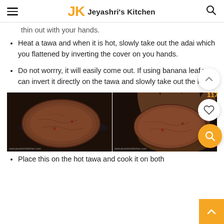Jeyashri's Kitchen
thin out with your hands.
Heat a tawa and when it is hot, slowly take out the adai which you flattened by inverting the cover on you hands.
Do not worrry, it will easily come out. If using banana leaf you can invert it directly on the tawa and slowly take out the leaf.
[Figure (photo): Two-panel photo: left panel shows a round flattened adai patty on a dark surface; right panel shows the adai being held in a hand, viewed from another angle. Watermark: www.jeyashriskitchen.com]
Place this on the hot tawa and cook it on both